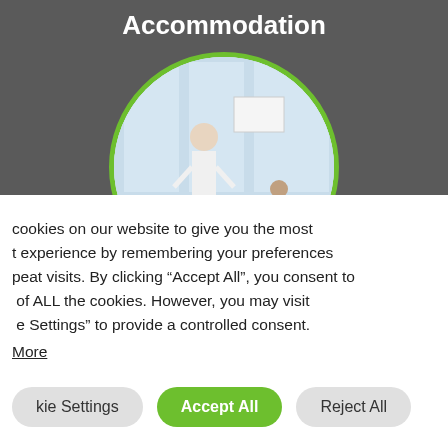Accommodation
[Figure (photo): Circular cropped photo of a business meeting room with a person presenting at a whiteboard, green border around circle]
cookies on our website to give you the most t experience by remembering your preferences peat visits. By clicking “Accept All”, you consent to of ALL the cookies. However, you may visit e Settings” to provide a controlled consent.
More
kie Settings
Accept All
Reject All